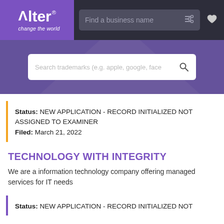[Figure (logo): Alter logo with purple background, text 'Alter change the world', search bar 'Find a business name' with filter and heart icons on dark navbar]
[Figure (screenshot): Purple hero section with search bar placeholder 'Search trademarks (e.g. apple, google, face' and magnifying glass icon]
Status: NEW APPLICATION - RECORD INITIALIZED NOT ASSIGNED TO EXAMINER
Filed: March 21, 2022
TECHNOLOGY WITH INTEGRITY
We are a information technology company offering managed services for IT needs
Status: NEW APPLICATION - RECORD INITIALIZED NOT